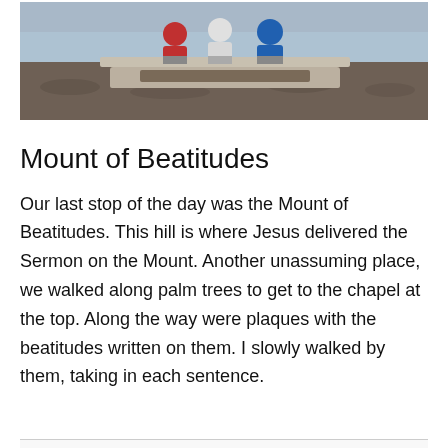[Figure (photo): Photo of children sitting on a concrete bench near a waterfront, viewed from behind. Rocky shoreline visible below and water in the background.]
Mount of Beatitudes
Our last stop of the day was the Mount of Beatitudes. This hill is where Jesus delivered the Sermon on the Mount. Another unassuming place, we walked along palm trees to get to the chapel at the top. Along the way were plaques with the beatitudes written on them. I slowly walked by them, taking in each sentence.